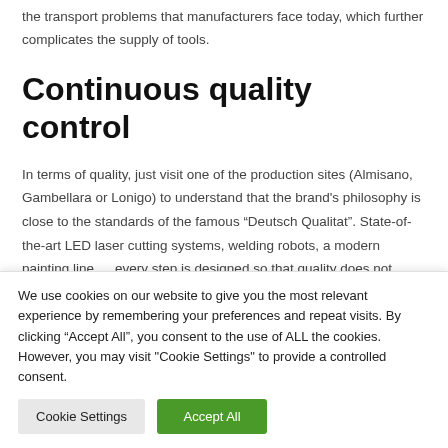the transport problems that manufacturers face today, which further complicates the supply of tools.
Continuous quality control
In terms of quality, just visit one of the production sites (Almisano, Gambellara or Lonigo) to understand that the brand's philosophy is close to the standards of the famous “Deutsch Qualitat”. State-of-the-art LED laser cutting systems, welding robots, a modern painting line … every step is designed so that quality does not stand in the background. Many parts are manufactured in-house
We use cookies on our website to give you the most relevant experience by remembering your preferences and repeat visits. By clicking “Accept All”, you consent to the use of ALL the cookies. However, you may visit "Cookie Settings" to provide a controlled consent.